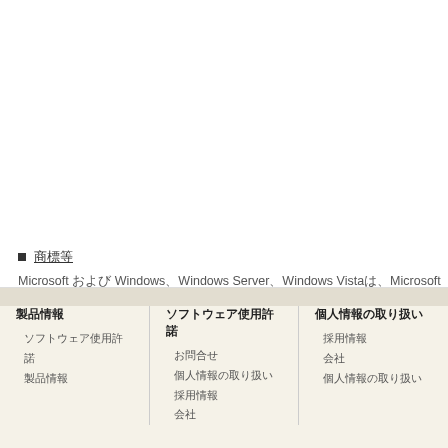| Version | OS |
| --- | --- |
| 2.7.0 | Windows 8.1
Windows 8
Windows Server
Windows Server |
| 2.7.0 | Windows 7
Windows Vista
Windows XP
Windows Server
Windows Server
Windows Server |
■ 商標等
Microsoft および Windows、Windows Server、Windows Vistaは、Microsoft Corporationの米国及びその他の国における登録商標または商標です。
製品情報 | ソフトウェア使用許諾 | 製品情報 | ソフトウェア使用許諾 | お問合せ | 個人情報の取り扱い | 採用情報 | 会社 | 個人情報の取り扱い